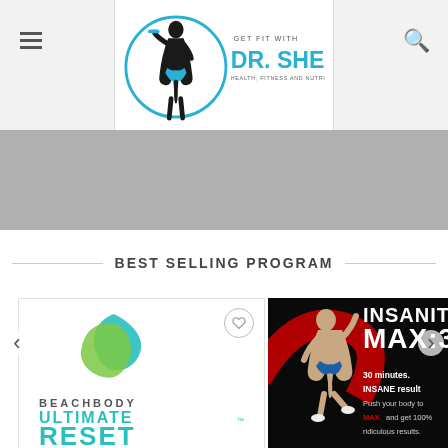Get Fit With DR. SHEBA — Health, Fitness and Nutrition Coaching
[Figure (illustration): Gray promotional banner below site header]
BEST SELLING PROGRAM
[Figure (photo): Beachbody Ultimate Reset product card with teal/green logo and product image]
[Figure (photo): Insanity MAX:30 product card showing athletic man with text '30 minutes. INSANE results. Push your body to MAX and get 100% ridiculous results.']